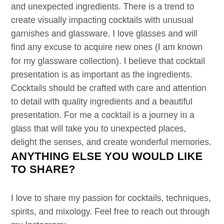and unexpected ingredients. There is a trend to create visually impacting cocktails with unusual garnishes and glassware. I love glasses and will find any excuse to acquire new ones (I am known for my glassware collection). I believe that cocktail presentation is as important as the ingredients. Cocktails should be crafted with care and attention to detail with quality ingredients and a beautiful presentation. For me a cocktail is a journey in a glass that will take you to unexpected places, delight the senses, and create wonderful memories.
ANYTHING ELSE YOU WOULD LIKE TO SHARE?
I love to share my passion for cocktails, techniques, spirits, and mixology. Feel free to reach out through my Instagram: